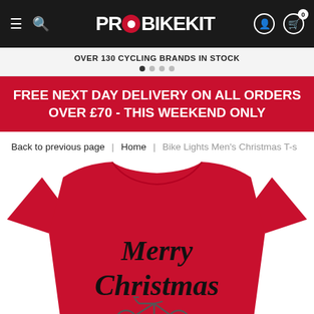PROBIKEKIT navigation bar with hamburger menu, search, logo, user account and cart (0 items)
OVER 130 CYCLING BRANDS IN STOCK
FREE NEXT DAY DELIVERY ON ALL ORDERS OVER £70 - THIS WEEKEND ONLY
Back to previous page | Home | Bike Lights Men's Christmas T-s...
[Figure (photo): Red Merry Christmas t-shirt with cursive black text reading 'Merry Christmas' and a cycling-themed graphic below]